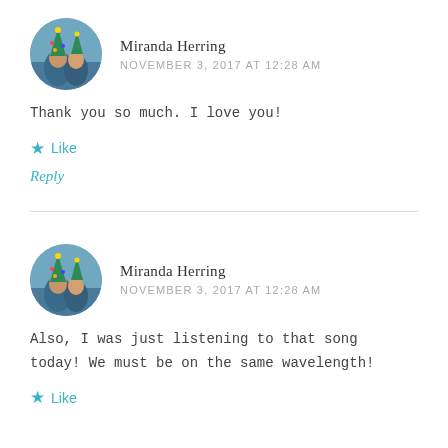[Figure (photo): Circular avatar photo of Miranda Herring wearing a Christmas tree hat]
Miranda Herring
NOVEMBER 3, 2017 AT 12:28 AM
Thank you so much. I love you!
Like
Reply
[Figure (photo): Circular avatar photo of Miranda Herring wearing a Christmas tree hat]
Miranda Herring
NOVEMBER 3, 2017 AT 12:28 AM
Also, I was just listening to that song today! We must be on the same wavelength!
Like